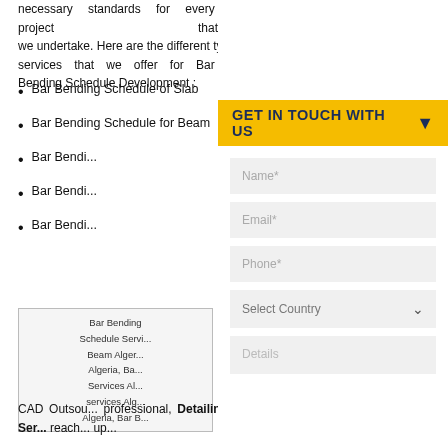necessary standards for every project that we undertake. Here are the different types of services that we offer for Bar Bending Schedule Development :
Bar Bending Schedule of Slab
Bar Bending Schedule for Beam
Bar Bending Schedule...
Bar Bending Schedule...
Bar Bending Schedule...
| Bar Bending Schedule Servi... Beam Alger... Algeria, Ba... Services Al... services Alg... Algeria, Bar B... |
CAD Outsou... professional, Detailing Ser... reach... up...
GET IN TOUCH WITH US
Name*
Email*
Phone*
Select Country
Details